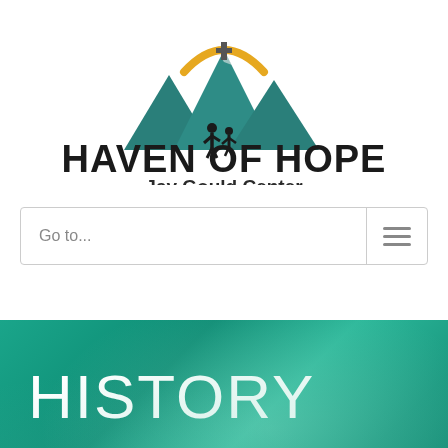[Figure (logo): Haven of Hope Jay Gould Center logo with mountain peaks and sunrise/cross icon above the organization name]
Go to...
HISTORY
It all started in a 100 year old, 800 sq ft house at 707 Lipan Street back in 2003.